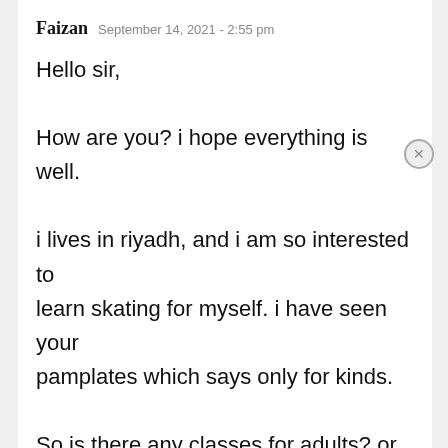Faizan  September 14, 2021 - 2:55 pm
Hello sir,

How are you? i hope everything is well.

i lives in riyadh, and i am so interested to learn skating for myself. i have seen your pamplates which says only for kinds.

So is there any classes for adults? or any
Privacy & Cookies: This site uses cookies. By continuing to use this website, you agree to their use.
To find out more, including how to control cookies, see here: Cookie Policy
Close and accept